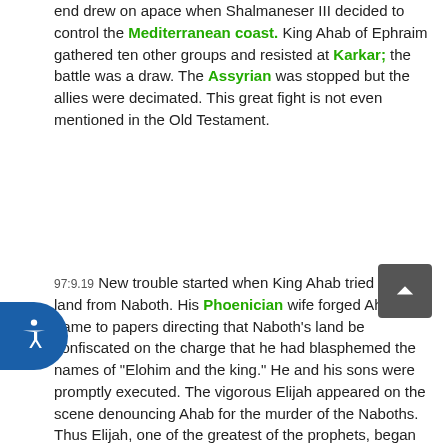end drew on apace when Shalmaneser III decided to control the Mediterranean coast. King Ahab of Ephraim gathered ten other groups and resisted at Karkar; the battle was a draw. The Assyrian was stopped but the allies were decimated. This great fight is not even mentioned in the Old Testament.
97:9.19 New trouble started when King Ahab tried to buy land from Naboth. His Phoenician wife forged Ahab's name to papers directing that Naboth's land be confiscated on the charge that he had blasphemed the names of "Elohim and the king." He and his sons were promptly executed. The vigorous Elijah appeared on the scene denouncing Ahab for the murder of the Naboths. Thus Elijah, one of the greatest of the prophets, began his teaching as a defender of the old land mores as against the land-selling attitude of the Baalim, against the attempt of the cities to dominate the country. But the reform did not succeed until the country landlord Jehu joined forces with the gypsy chieftain Jehonadab to destroy the prophets (real estate agents) of Baal at Samaria.
20 New life appeared as Jehoash and his son Jeroboam delivered Israel from its enemies. But by this time there ruled in Samaria a gangster-nobility whose depredations rivaled those of the Davidic dynasty of olden days. State and church went along hand in hand. The attempt to suppress freedom